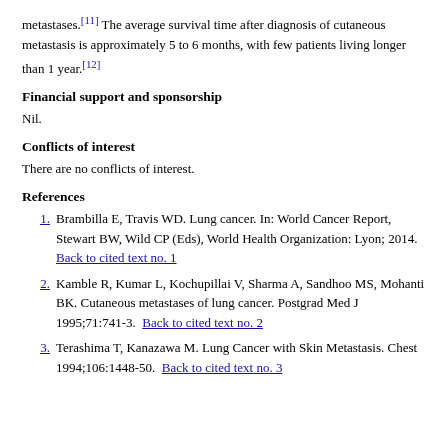metastases.[11] The average survival time after diagnosis of cutaneous metastasis is approximately 5 to 6 months, with few patients living longer than 1 year.[12]
Financial support and sponsorship
Nil.
Conflicts of interest
There are no conflicts of interest.
References
1. Brambilla E, Travis WD. Lung cancer. In: World Cancer Report, Stewart BW, Wild CP (Eds), World Health Organization: Lyon; 2014. Back to cited text no. 1
2. Kamble R, Kumar L, Kochupillai V, Sharma A, Sandhoo MS, Mohanti BK. Cutaneous metastases of lung cancer. Postgrad Med J 1995;71:741-3. Back to cited text no. 2
3. Terashima T, Kanazawa M. Lung Cancer with Skin Metastasis. Chest 1994;106:1448-50. Back to cited text no. 3